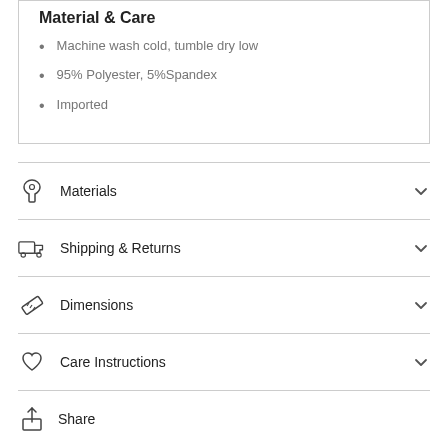Material & Care
Machine wash cold, tumble dry low
95% Polyester, 5%Spandex
Imported
Materials
Shipping & Returns
Dimensions
Care Instructions
Share